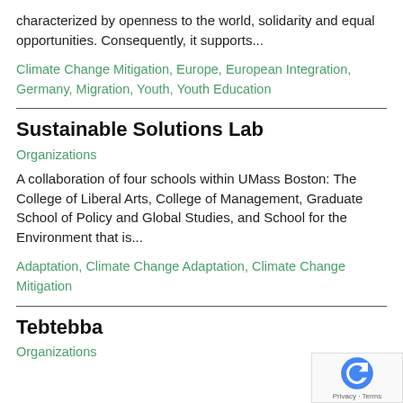characterized by openness to the world, solidarity and equal opportunities. Consequently, it supports...
Climate Change Mitigation, Europe, European Integration, Germany, Migration, Youth, Youth Education
Sustainable Solutions Lab
Organizations
A collaboration of four schools within UMass Boston: The College of Liberal Arts, College of Management, Graduate School of Policy and Global Studies, and School for the Environment that is...
Adaptation, Climate Change Adaptation, Climate Change Mitigation
Tebtebba
Organizations